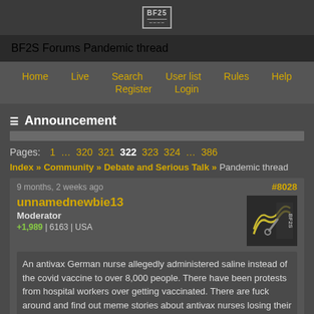BF2S Forums - Pandemic thread
BF2S Forums Pandemic thread
Announcement
Pages: 1 … 320 321 322 323 324 … 386
Index » Community » Debate and Serious Talk » Pandemic thread
9 months, 2 weeks ago #8028
unnamednewbie13 Moderator +1,989 | 6163 | USA
An antivax German nurse allegedly administered saline instead of the covid vaccine to over 8,000 people. There have been protests from hospital workers over getting vaccinated. There are fuck around and find out meme stories about antivax nurses losing their jobs over it, and responses from provax nurses more or less to the tune of "good riddance, get out of my industry."